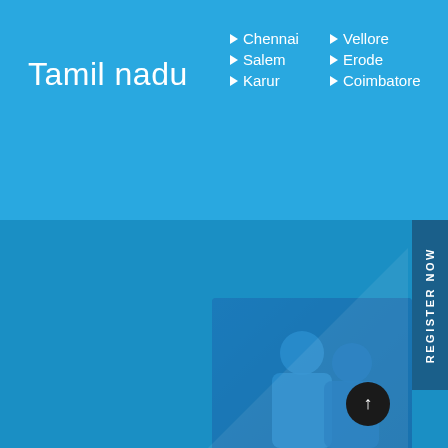Tamil nadu
Chennai
Vellore
Salem
Erode
Karur
Coimbatore
Services
Medical
Engineering
BDS
BA
B.SC
BAMS
[Figure (photo): Two people smiling, educational consultation context, overlaid on blue background]